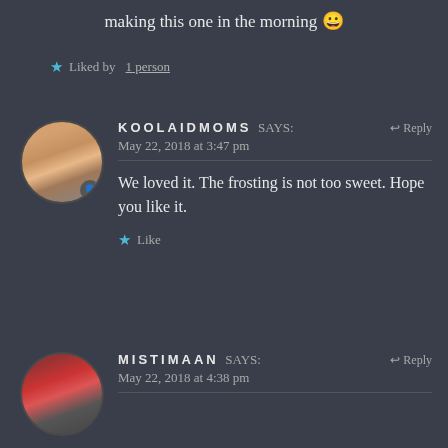making this one in the morning 😀
★ Liked by 1 person
KOOLAIDMOMS says: May 22, 2018 at 3:47 pm
We loved it. The frosting is not too sweet. Hope you like it.
★ Like
MISTIMAAN says: May 22, 2018 at 4:38 pm